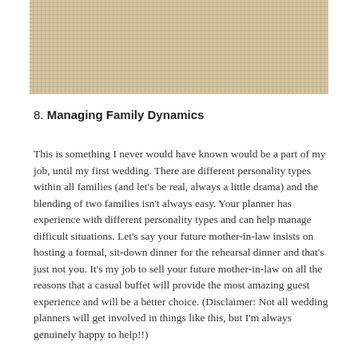[Figure (photo): Close-up photo of a woven/knitted fabric texture in beige/cream tones, appears to be a beach setting with sandy ground visible]
8. Managing Family Dynamics
This is something I never would have known would be a part of my job, until my first wedding. There are different personality types within all families (and let's be real, always a little drama) and the blending of two families isn't always easy. Your planner has experience with different personality types and can help manage difficult situations. Let's say your future mother-in-law insists on hosting a formal, sit-down dinner for the rehearsal dinner and that's just not you. It's my job to sell your future mother-in-law on all the reasons that a casual buffet will provide the most amazing guest experience and will be a better choice. (Disclaimer: Not all wedding planners will get involved in things like this, but I'm always genuinely happy to help!!)